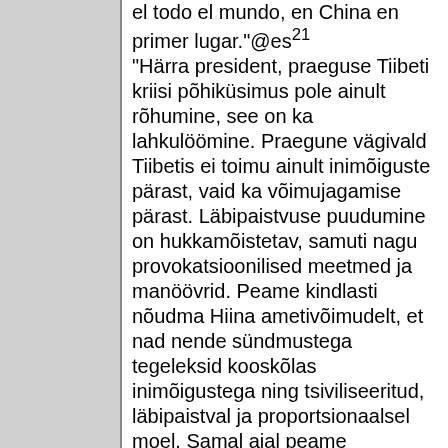el todo el mundo, en China en primer lugar."@es²¹ "Härra president, praeguse Tiibeti kriisi põhiküsimus pole ainult rõhumine, see on ka lahkulöömine. Praegune vägivald Tiibetis ei toimu ainult inimõiguste pärast, vaid ka võimujagamise pärast. Läbipaistvuse puudumine on hukkamõistetav, samuti nagu provokatsioonilised meetmed ja manöövrid. Peame kindlasti nõudma Hiina ametivõimudelt, et nad nende sündmustega tegeleksid kooskõlas inimõigustega ning tsiviliseeritud, läbipaistval ja proportsionaalsel moel. Samal ajal peame tunnistama ka Hiina õigust ja iga muu riigi õigust võtta asjakohaseid meetmeid, et kaitsta oma kodanike elu, vabadust ja vara, samuti ka riigivara. Kahtlemata ei ole Hiina korraldatud vastavalt Euroopa demokraatlikele põhimõtetele